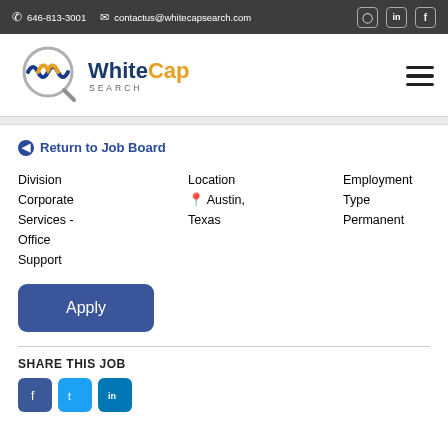646-813-3001  contactus@whitecapsearch.com
[Figure (logo): WhiteCap Search logo with wave graphic and magnifying glass]
Return to Job Board
| Division | Location | Employment Type |
| --- | --- | --- |
| Corporate Services - Office Support | Austin, Texas | Permanent |
Apply
SHARE THIS JOB